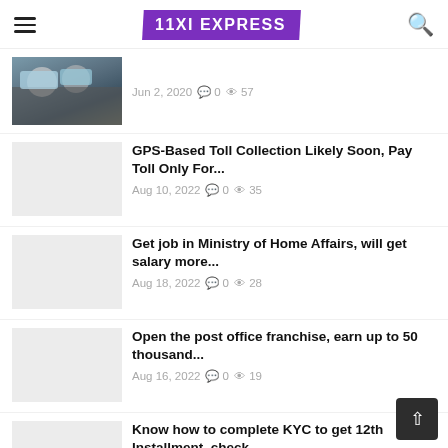11XI EXPRESS
[Figure (photo): People wearing face masks, partial view]
Jun 2, 2020  0  57
GPS-Based Toll Collection Likely Soon, Pay Toll Only For...
Aug 10, 2022  0  35
Get job in Ministry of Home Affairs, will get salary more...
Aug 18, 2022  0  28
Open the post office franchise, earn up to 50 thousand...
Aug 16, 2022  0  19
Know how to complete KYC to get 12th Installment, check...